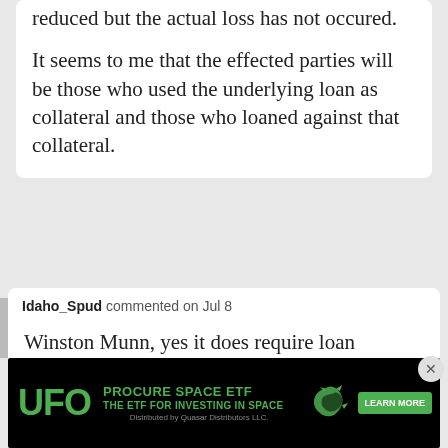reduced but the actual loss has not occured.
It seems to me that the effected parties will be those who used the underlying loan as collateral and those who loaned against that collateral.
Idaho_Spud commented on Jul 8
Winston Munn, yes it does require loan defaults to increase for these losses to be r... a...